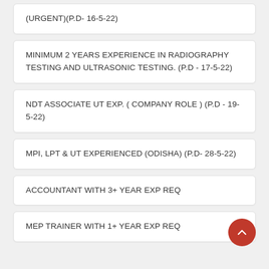(URGENT)(P.D- 16-5-22)
MINIMUM 2 YEARS EXPERIENCE IN RADIOGRAPHY TESTING AND ULTRASONIC TESTING. (P.D - 17-5-22)
NDT ASSOCIATE UT EXP. ( COMPANY ROLE ) (P.D - 19-5-22)
MPI, LPT & UT EXPERIENCED (ODISHA) (P.D- 28-5-22)
ACCOUNTANT WITH 3+ YEAR EXP REQ
MEP TRAINER WITH 1+ YEAR EXP REQ